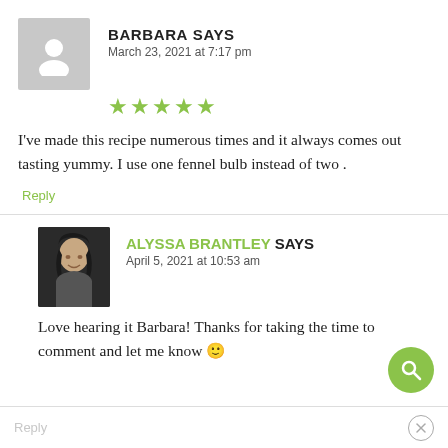BARBARA SAYS
March 23, 2021 at 7:17 pm
[Figure (other): 5 green star rating]
I've made this recipe numerous times and it always comes out tasting yummy. I use one fennel bulb instead of two .
Reply
ALYSSA BRANTLEY SAYS
April 5, 2021 at 10:53 am
Love hearing it Barbara! Thanks for taking the time to comment and let me know 🙂
Reply